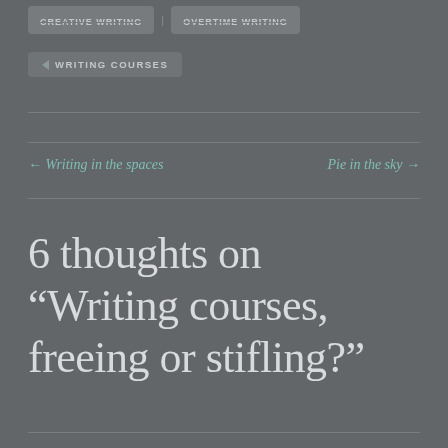CREATIVE WRITING | OVERTIME WRITING
WRITING COURSES
← Writing in the spaces    Pie in the sky →
6 thoughts on “Writing courses, freeing or stifling?”